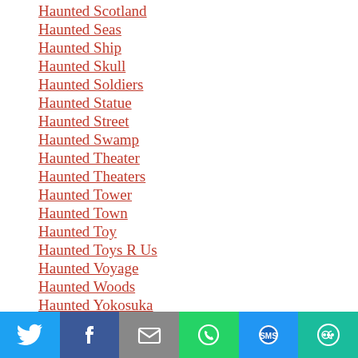Haunted Scotland
Haunted Seas
Haunted Ship
Haunted Skull
Haunted Soldiers
Haunted Statue
Haunted Street
Haunted Swamp
Haunted Theater
Haunted Theaters
Haunted Tower
Haunted Town
Haunted Toy
Haunted Toys R Us
Haunted Voyage
Haunted Woods
Haunted Yokosuka